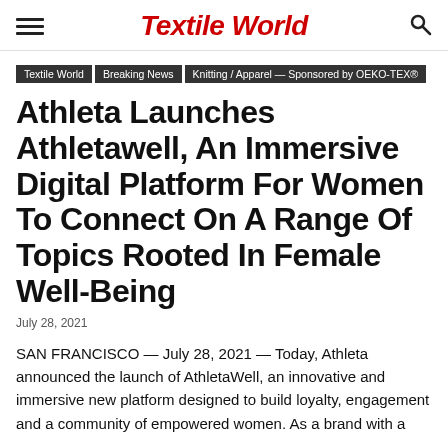Textile World
Textile World | Breaking News | Knitting / Apparel — Sponsored by OEKO-TEX®
Athleta Launches Athletawell, An Immersive Digital Platform For Women To Connect On A Range Of Topics Rooted In Female Well-Being
July 28, 2021
SAN FRANCISCO — July 28, 2021 — Today, Athleta announced the launch of AthletaWell, an innovative and immersive new platform designed to build loyalty, engagement and a community of empowered women. As a brand with a